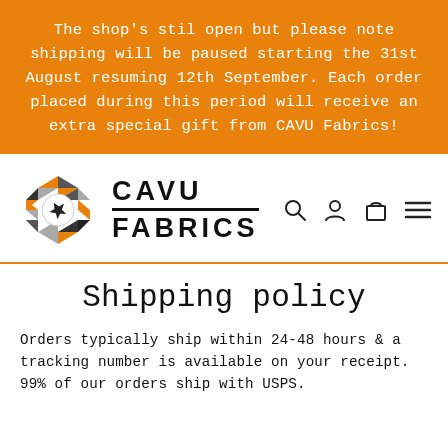The shop's stil open but please note shipping will be paused starting the 31st August resuming 12th September. Each order placed during this period will receive an extra special gift from CAVU Fabrics!
[Figure (logo): CAVU Fabrics logo: hexagonal geometric icon with airplane silhouette, next to bold uppercase text CAVU FABRICS with a horizontal underline between the two words. Navigation icons for search, account, cart, and menu on the right.]
Shipping policy
Orders typically ship within 24-48 hours & a tracking number is available on your receipt. 99% of our orders ship with USPS.